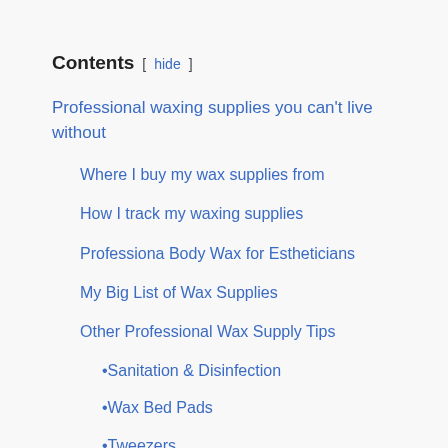Contents [ hide ]
Professional waxing supplies you can’t live without
Where I buy my wax supplies from
How I track my waxing supplies
Professiona Body Wax for Estheticians
My Big List of Wax Supplies
Other Professional Wax Supply Tips
•Sanitation & Disinfection
•Wax Bed Pads
•Tweezers
•Exfoliation gloves